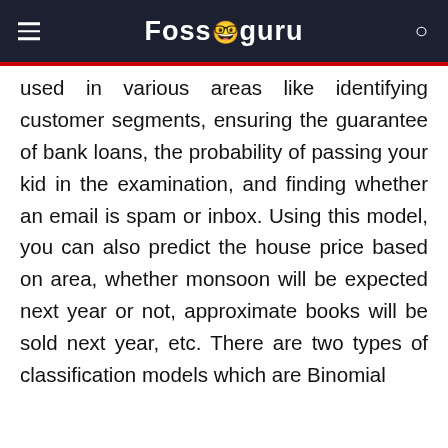Fossguru
used in various areas like identifying customer segments, ensuring the guarantee of bank loans, the probability of passing your kid in the examination, and finding whether an email is spam or inbox. Using this model, you can also predict the house price based on area, whether monsoon will be expected next year or not, approximate books will be sold next year, etc. There are two types of classification models which are Binomial